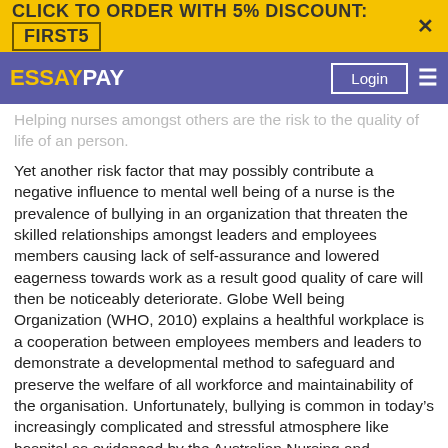CLICK TO ORDER WITH 5% DISCOUNT: FIRST5
ESSAYPAY  Login
Helping nurses amongst others are the risk to the quality of life of an person.
Yet another risk factor that may possibly contribute a negative influence to mental well being of a nurse is the prevalence of bullying in an organization that threaten the skilled relationships amongst leaders and employees members causing lack of self-assurance and lowered eagerness towards work as a result good quality of care will then be noticeably deteriorate. Globe Well being Organization (WHO, 2010) explains a healthful workplace is a cooperation between employees members and leaders to demonstrate a developmental method to safeguard and preserve the welfare of all workforce and maintainability of the organisation. Unfortunately, bullying is common in today’s increasingly complicated and stressful atmosphere like hospital as evidenced by the Australian Nursing and Midwifery (2018) journal that nearly 50 percent of nurses operating in the hospitals have encountered bullying and some are afflicted several instances per week. Koh (2016) cited some instances in a direct and indirect, subjective and objective responses, like body languages, raising of voices in response to colleagues, commenting offensively, reacting to a circumstance whereby demoralises the character of a colleague and inability to